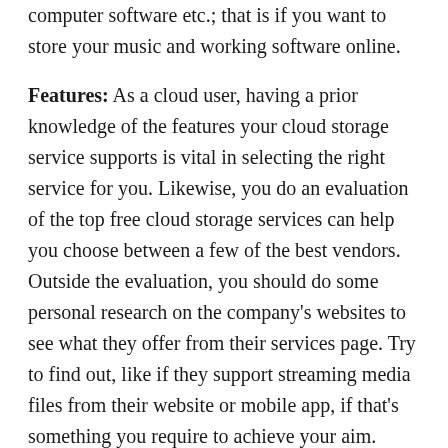computer software etc.; that is if you want to store your music and working software online.
Features: As a cloud user, having a prior knowledge of the features your cloud storage service supports is vital in selecting the right service for you. Likewise, you do an evaluation of the top free cloud storage services can help you choose between a few of the best vendors. Outside the evaluation, you should do some personal research on the company's websites to see what they offer from their services page. Try to find out, like if they support streaming media files from their website or mobile app, if that's something you require to achieve your aim.